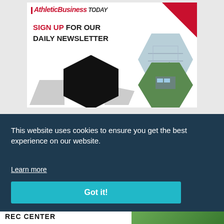[Figure (advertisement): Athletic Business Today newsletter sign-up advertisement with hexagonal graphic elements, sports facility photo, and outdoor facility photo]
This website uses cookies to ensure you get the best experience on our website.
Learn more
Got it!
REC CENTER